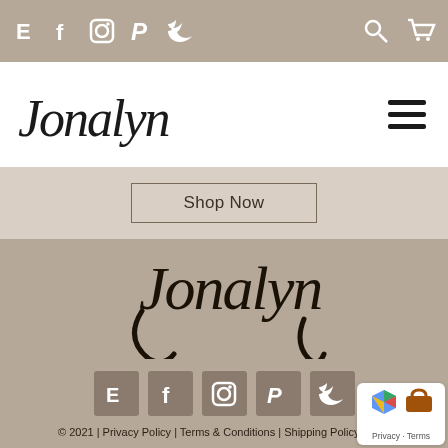Jonalyn website header with social icons (Etsy, Facebook, Instagram, Pinterest, Twitter), search and cart icons
[Figure (logo): Jonalyn cursive script logo in black on white background]
Shop Now
[Figure (logo): Jonalyn cursive script logo large on tan/beige background in footer]
© 2021 | Privacy Policy | Terms & Conditions | Shipping Policy &...